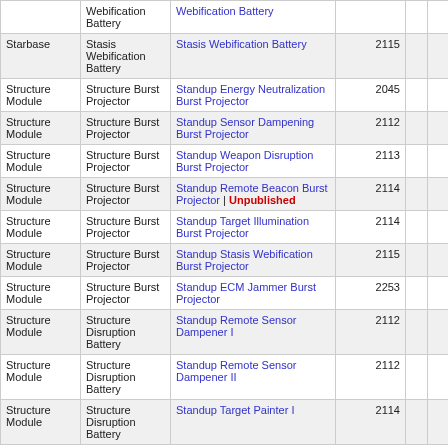|  |  |  |  |  |  |
| --- | --- | --- | --- | --- | --- |
|  | Webification Battery | Webification Battery |  |  |  |
| Starbase | Stasis Webification Battery | Stasis Webification Battery | 2115 |  |  |
| Structure Module | Structure Burst Projector | Standup Energy Neutralization Burst Projector | 2045 |  |  |
| Structure Module | Structure Burst Projector | Standup Sensor Dampening Burst Projector | 2112 |  |  |
| Structure Module | Structure Burst Projector | Standup Weapon Disruption Burst Projector | 2113 |  |  |
| Structure Module | Structure Burst Projector | Standup Remote Beacon Burst Projector | Unpublished | 2114 |  |  |
| Structure Module | Structure Burst Projector | Standup Target Illumination Burst Projector | 2114 |  |  |
| Structure Module | Structure Burst Projector | Standup Stasis Webification Burst Projector | 2115 |  |  |
| Structure Module | Structure Burst Projector | Standup ECM Jammer Burst Projector | 2253 |  |  |
| Structure Module | Structure Disruption Battery | Standup Remote Sensor Dampener I | 2112 |  |  |
| Structure Module | Structure Disruption Battery | Standup Remote Sensor Dampener II | 2112 |  |  |
| Structure Module | Structure Disruption Battery | Standup Target Painter I | 2114 |  |  |